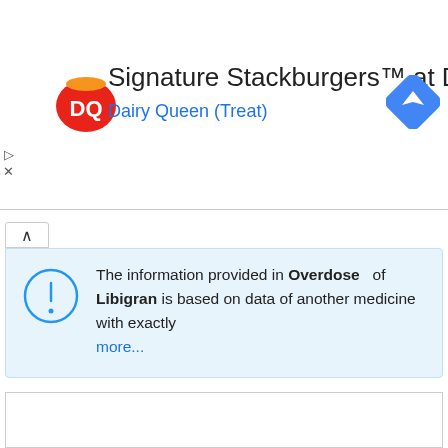[Figure (infographic): Dairy Queen ad banner with DQ logo, text 'Signature Stackburgers™ at DQ®' and 'Dairy Queen (Treat)', and a Google Maps navigation icon on the right.]
The information provided in Overdose of Libigran is based on data of another medicine with exactly more...
[Figure (other): Empty white box with border]